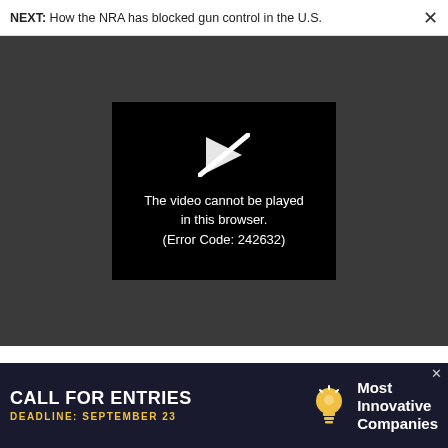NEXT: How the NRA has blocked gun control in the U.S.
[Figure (screenshot): Video player error screen showing a crossed-out play button icon and the message: The video cannot be played in this browser. (Error Code: 242632)]
went to workers, say economists
04
[Figure (infographic): Advertisement banner: CALL FOR ENTRIES DEADLINE: SEPTEMBER 23 — Most Innovative Companies]